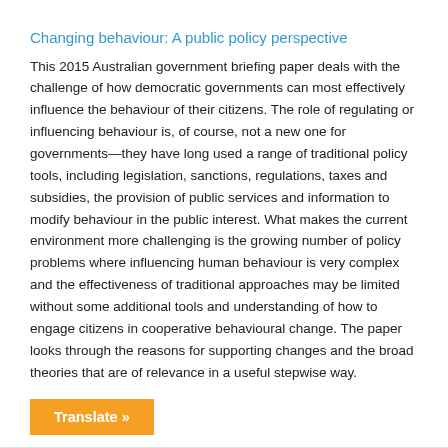Changing behaviour: A public policy perspective
This 2015 Australian government briefing paper deals with the challenge of how democratic governments can most effectively influence the behaviour of their citizens. The role of regulating or influencing behaviour is, of course, not a new one for governments—they have long used a range of traditional policy tools, including legislation, sanctions, regulations, taxes and subsidies, the provision of public services and information to modify behaviour in the public interest. What makes the current environment more challenging is the growing number of policy problems where influencing human behaviour is very complex and the effectiveness of traditional approaches may be limited without some additional tools and understanding of how to engage citizens in cooperative behavioural change. The paper looks through the reasons for supporting changes and the broad theories that are of relevance in a useful stepwise way.
Translate »